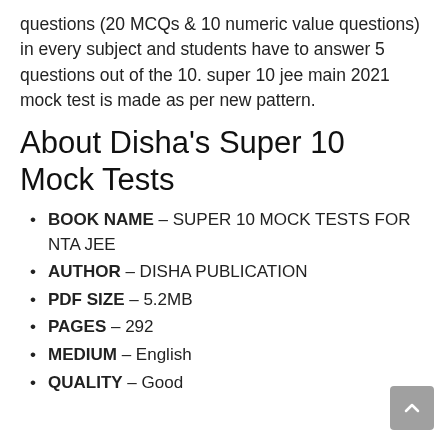questions (20 MCQs & 10 numeric value questions) in every subject and students have to answer 5 questions out of the 10. super 10 jee main 2021 mock test is made as per new pattern.
About Disha's Super 10 Mock Tests
BOOK NAME – SUPER 10 MOCK TESTS FOR NTA JEE
AUTHOR – DISHA PUBLICATION
PDF SIZE – 5.2MB
PAGES – 292
MEDIUM – English
QUALITY – Good